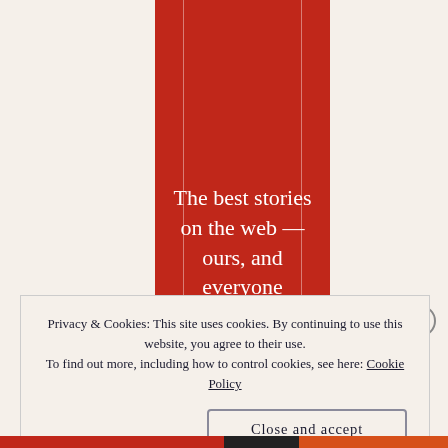[Figure (illustration): Red vertical banner/book cover with white vertical lines on left and right sides, containing white serif text reading 'The best stories on the web — ours, and everyone']
Privacy & Cookies: This site uses cookies. By continuing to use this website, you agree to their use. To find out more, including how to control cookies, see here: Cookie Policy
Close and accept